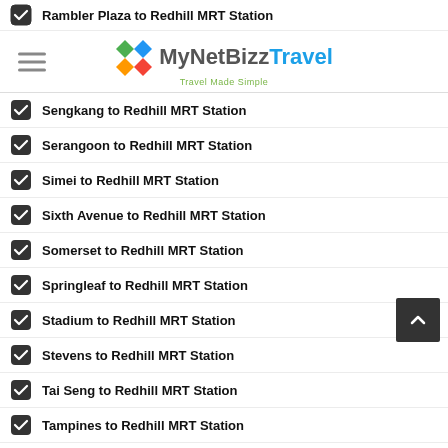MyNetBizz Travel - Travel Made Simple
Rambler Plaza to Redhill MRT Station
Sengkang to Redhill MRT Station
Serangoon to Redhill MRT Station
Simei to Redhill MRT Station
Sixth Avenue to Redhill MRT Station
Somerset to Redhill MRT Station
Springleaf to Redhill MRT Station
Stadium to Redhill MRT Station
Stevens to Redhill MRT Station
Tai Seng to Redhill MRT Station
Tampines to Redhill MRT Station
Tampines East to Redhill MRT Station
Tampines West to Redhill MRT Station